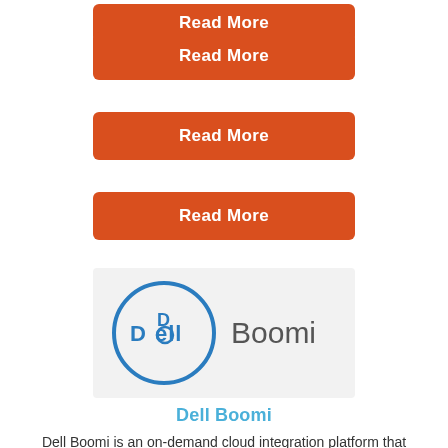[Figure (logo): Dell Boomi logo — blue circle with DELL text inside and Boomi text to the right, on a light grey background]
Dell Boomi
Dell Boomi is an on-demand cloud integration platform that